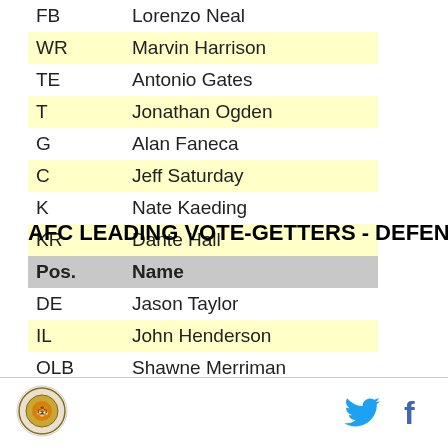| Pos. | Name |
| --- | --- |
| FB | Lorenzo Neal |
| WR | Marvin Harrison |
| TE | Antonio Gates |
| T | Jonathan Ogden |
| G | Alan Faneca |
| C | Jeff Saturday |
| K | Nate Kaeding |
| KR | Dante Hall |
AFC LEADING VOTE-GETTERS - DEFENSE
| Pos. | Name |
| --- | --- |
| DE | Jason Taylor |
| IL | John Henderson |
| OLB | Shawne Merriman
(yea, he's clean) |
| ILB | Zach Thomas |
logo, twitter, facebook